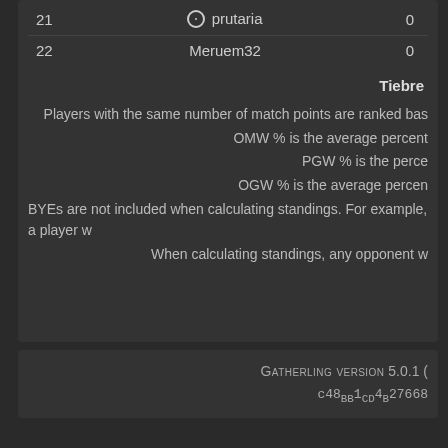| # | Player | Points |
| --- | --- | --- |
| 21 | ⊖ prutaria | 0 |
| 22 | Meruem32 | 0 |
Tiebre...
Players with the same number of match points are ranked bas...
OMW % is the average percent...
PGW % is the perce...
OGW % is the average percen...
BYEs are not included when calculating standings. For example, a player w...
When calculating standings, any opponent w...
GATHERLING VERSION 5.0.1 (... c48bb1cd4b27668...